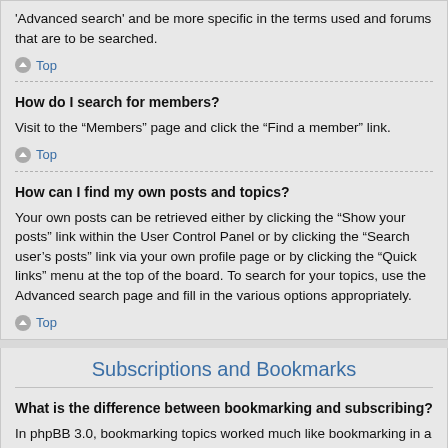'Advanced search' and be more specific in the terms used and forums that are to be searched.
Top
How do I search for members?
Visit to the “Members” page and click the “Find a member” link.
Top
How can I find my own posts and topics?
Your own posts can be retrieved either by clicking the “Show your posts” link within the User Control Panel or by clicking the “Search user’s posts” link via your own profile page or by clicking the “Quick links” menu at the top of the board. To search for your topics, use the Advanced search page and fill in the various options appropriately.
Top
Subscriptions and Bookmarks
What is the difference between bookmarking and subscribing?
In phpBB 3.0, bookmarking topics worked much like bookmarking in a web browser. You were not alerted when there was an update. As of phpBB 3.1, bookmarking is more like subscribing to a topic. You can be notified when a bookmarked topic is updated. Subscribing, however, will notify you when there